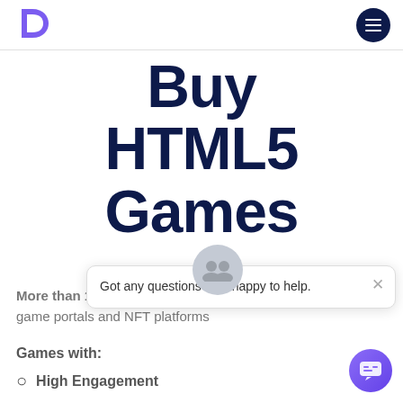[Figure (logo): Purple D-shaped logo for a gaming/digital platform]
[Figure (illustration): Dark navy circular hamburger/menu button with three horizontal white lines]
Buy HTML5 Games
More than 100 Games with Licenses for sale. Available for game portals and NFT platforms
Games with:
High Engagement
[Figure (other): Chat support popup with two user avatars icon, close X button, and message: Got any questions? I'm happy to help.]
[Figure (other): Purple gradient circular chat support button at bottom right corner]